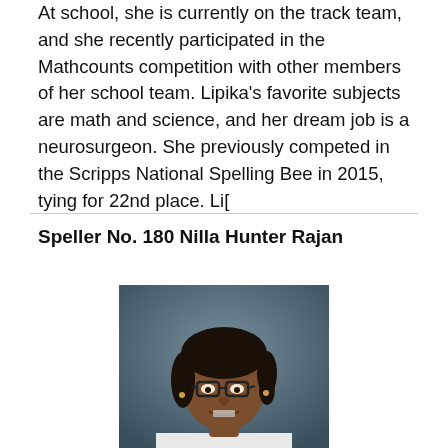At school, she is currently on the track team, and she recently participated in the Mathcounts competition with other members of her school team. Lipika's favorite subjects are math and science, and her dream job is a neurosurgeon. She previously competed in the Scripps National Spelling Bee in 2015, tying for 22nd place. Li[
Speller No. 180 Nilla Hunter Rajan
[Figure (photo): Portrait photo of a young girl with glasses and dark hair pulled back, smiling, wearing a white top, against a grey-blue background.]